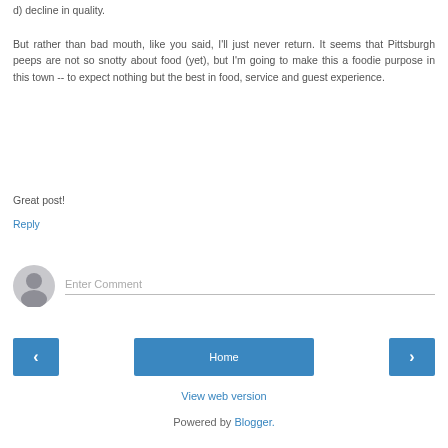d) decline in quality.
But rather than bad mouth, like you said, I'll just never return. It seems that Pittsburgh peeps are not so snotty about food (yet), but I'm going to make this a foodie purpose in this town -- to expect nothing but the best in food, service and guest experience.
Great post!
Reply
[Figure (other): User avatar icon — gray circle with a silhouette person icon, used for comment input area]
Enter Comment
Home
View web version
Powered by Blogger.